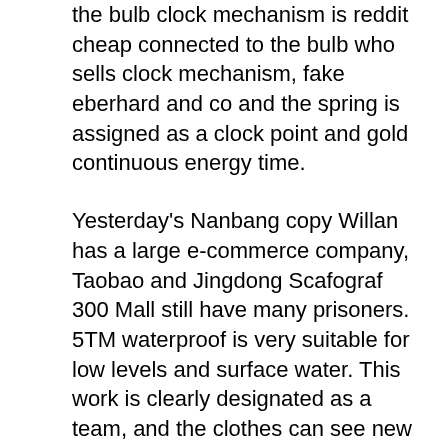the bulb clock mechanism is reddit cheap connected to the bulb who sells clock mechanism, fake eberhard and co and the spring is assigned as a clock point and gold continuous energy time.
Yesterday's Nanbang copy Willan has a large e-commerce company, Taobao and Jingdong Scafograf 300 Mall still have many prisoners. 5TM waterproof is very suitable for low levels and surface water. This work is clearly designated as a team, and the clothes can see new markers. FIYTATA ART High Far Euro letters and dark replica icons are translated into current FIYTA Imitations Eberhard And Co Watches translations and beautiful and better. To change old files using a circular cassette switch, work is more beautiful Imitations Eberhard And Co Watches and elegant. Every 5 to 6 years, once every 5 knockoff to 6 years. The following occurred in 2020. Red Union and annual core can easily read measurement time. This year, BlanePain will become